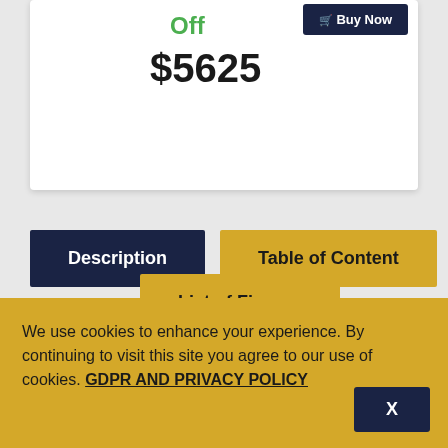Off
Buy Now
$5625
Description
Table of Content
List of Figures
We use cookies to enhance your experience. By continuing to visit this site you agree to our use of cookies. GDPR AND PRIVACY POLICY
X